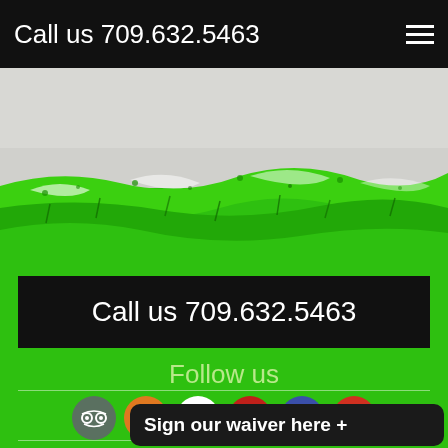Call us 709.632.5463
[Figure (illustration): Green brushstroke nature/landscape background image with white/grey sky and dense green foliage texture]
Call us 709.632.5463
Follow us
[Figure (infographic): Row of social media icons: TripAdvisor (dark green circle), RSS (orange circle), Twitter (white circle), YouTube (red circle), Facebook (blue circle), Google+ (red circle)]
BOOK YOUR ADVENTURE
Sign our waiver here +